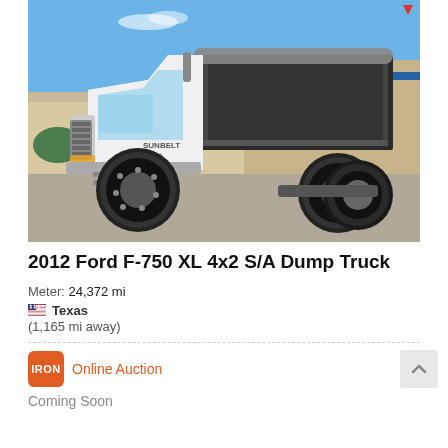[Figure (photo): 2012 Ford F-750 XL dump truck, white cab with black dump bed, Sunbelt Rentals branding, photographed in a parking lot with a commercial building in the background under a blue sky.]
2012 Ford F-750 XL 4x2 S/A Dump Truck
Meter: 24,372 mi
Texas
(1,165 mi away)
IRON Online Auction
Coming Soon